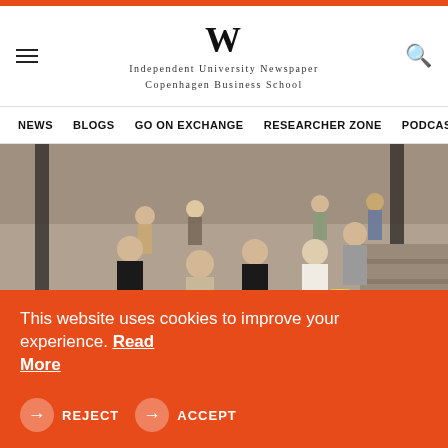W — Independent University Newspaper Copenhagen Business School
NEWS   BLOGS   GO ON EXCHANGE   RESEARCHER ZONE   PODCAST
[Figure (photo): Overhead view of students standing in a group in what appears to be a university building atrium or lobby, viewed from above.]
NEWS
Generation Lockdown first
This website uses cookies to improve your experience. Read More
→ REJECT   → ACCEPT